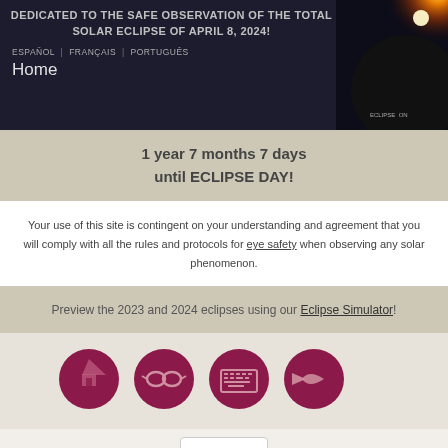DEDICATED TO THE SAFE OBSERVATION OF THE TOTAL SOLAR ECLIPSE OF APRIL 8, 2024!
ESPAÑOL | FRANÇAIS | PORTUGUÊS
Home
[Figure (photo): Solar eclipse photo showing corona with bright light in top right area, dark background, Eclipse logo visible]
1 year 7 months 7 days until ECLIPSE DAY!
Your use of this site is contingent on your understanding and agreement that you will comply with all the rules and protocols for eye safety when observing any solar phenomenon.
Preview the 2023 and 2024 eclipses using our Eclipse Simulator!
[Figure (illustration): Four dark red/maroon circular icon buttons: home icon, glasses/eye safety icon, keyboard/computer icon, and back arrow icon]
[Figure (screenshot): Hamburger menu button with three horizontal lines]
Home » 2021 Eclipse information for every city: